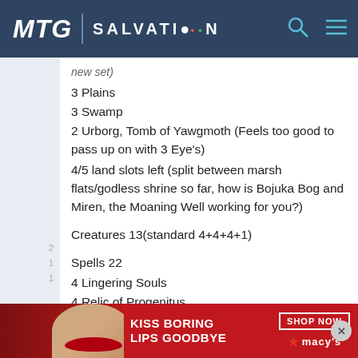MTG SALVATION
new set)
3 Plains
3 Swamp
2 Urborg, Tomb of Yawgmoth (Feels too good to pass up on with 3 Eye's)
4/5 land slots left (split between marsh flats/godless shrine so far, how is Bojuka Bog and Miren, the Moaning Well working for you?)
Creatures 13(standard 4+4+4+1)
Spells 22
4 Lingering Souls
4 Relic of Progenitus
4 Path to Exile
3 Inquisition of Kozilek
[Figure (photo): Macy's advertisement banner: Kiss Boring Lips Goodbye, Shop Now button, Macy's star logo, face with red lips]